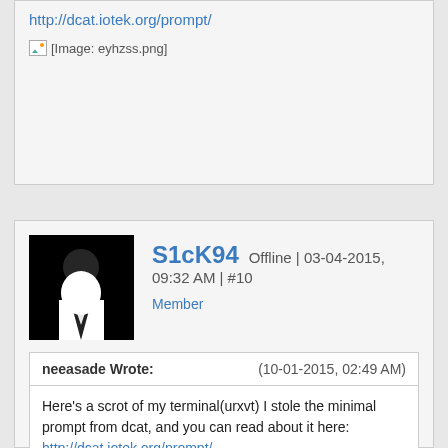http://dcat.iotek.org/prompt/
[Figure (photo): [Image: eyhzss.png]]
S1cK94 Offline | 03-04-2015, 09:32 AM | #10
Member
neeasade Wrote: (10-01-2015, 02:49 AM) Here's a scrot of my terminal(urxvt) I stole the minimal prompt from dcat, and you can read about it here: http://dcat.iotek.org/prompt/
Whoa, I came up with a very similar idea.
By the way, here's a screenshot and the repo if you wish to